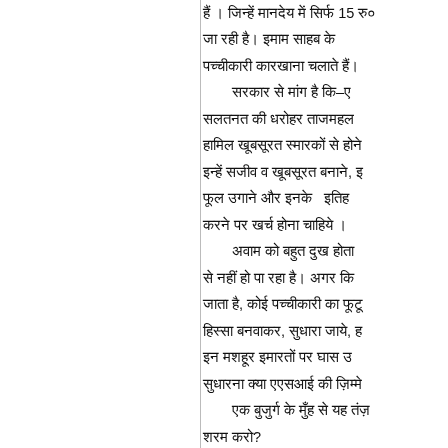हैं । जिन्हें मानदेय में सिर्फ 15 रु० जा रही हैं। इमाम साहब के पच्चीकारी कारखाना चलाते हैं।
सरकार से मांग है कि–ए सलतनत की धरोहर ताजमहल हामिल खूबसूरत स्मारकों से होने इन्हें सजीव व खूबसूरत बनाने, इ फूल उगाने और इनके इतिह करने पर खर्च होना चाहिये।
अवाम को बहुत दुख होता से नहीं हो पा रहा है। अगर कि जाता है, कोई पच्चीकारी का फूटू हिस्सा बनवाकर, सुधारा जाये, ह इन मशहूर इमारतों पर घास उ सुधारना क्या एएसआई की ज़िम्मे
एक बुजुर्ग के मुँह से यह तंज़ शरम करो?
ताजमहल पर लग
जुमा की खुसूसी नमाज को दुनिया के फर्स्ट अज़्बे 'विश्वदाय स्